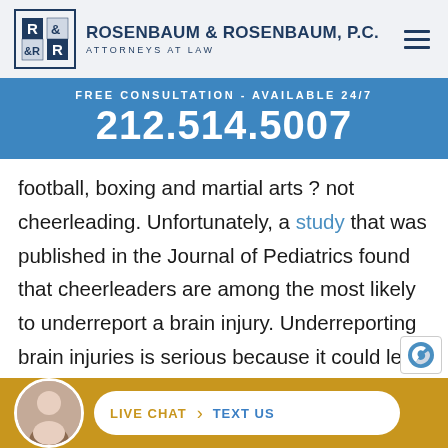ROSENBAUM & ROSENBAUM, P.C. ATTORNEYS AT LAW
FREE CONSULTATION - AVAILABLE 24/7
212.514.5007
football, boxing and martial arts ? not cheerleading. Unfortunately, a study that was published in the Journal of Pediatrics found that cheerleaders are among the most likely to underreport a brain injury. Underreporting brain injuries is serious because it could lead to further long-term damage. This study explores the reasons cheerleaders underreport their
LIVE CHAT   TEXT US